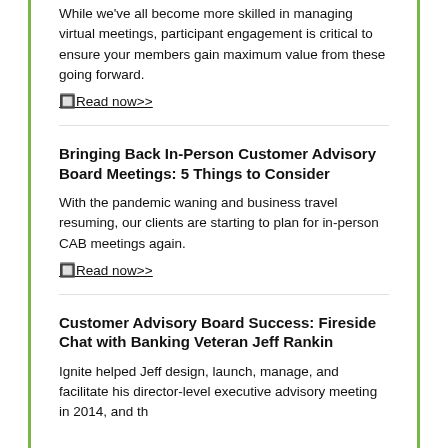While we've all become more skilled in managing virtual meetings, participant engagement is critical to ensure your members gain maximum value from these going forward.
🔲Read now>>
Bringing Back In-Person Customer Advisory Board Meetings: 5 Things to Consider
With the pandemic waning and business travel resuming, our clients are starting to plan for in-person CAB meetings again.
🔲Read now>>
Customer Advisory Board Success: Fireside Chat with Banking Veteran Jeff Rankin
Ignite helped Jeff design, launch, manage, and facilitate his director-level executive advisory meeting in 2014, and then...